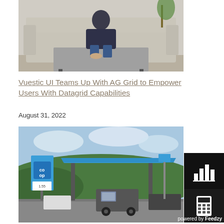[Figure (photo): Person sitting on a grey sofa with a concrete-look coffee table in front, indoor setting]
Vuestic UI Teams Up With AG Grid to Empower Users With Datagrid Capabilities
August 31, 2022
[Figure (photo): Co-op petrol station with blue canopy, vehicles queuing, hills and cloudy sky in background]
[Figure (infographic): Black panel with white bar chart icon (Feedzy widget)]
[Figure (infographic): Dark panel with white calculator icon (Feedzy widget)]
powered by Feedzy